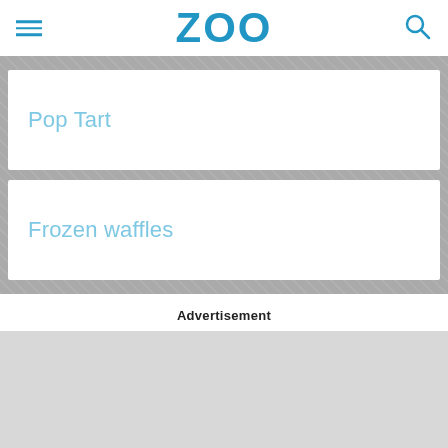ZOO
Pop Tart
Frozen waffles
Advertisement
[Figure (other): Gray advertisement placeholder block]